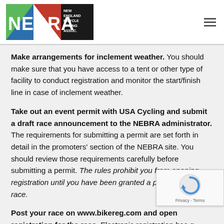NEBRA - New England Bicycle Racing Association
Make arrangements for inclement weather. You should make sure that you have access to a tent or other type of facility to conduct registration and monitor the start/finish line in case of inclement weather.
Take out an event permit with USA Cycling and submit a draft race announcement to the NEBRA administrator. The requirements for submitting a permit are set forth in detail in the promoters' section of the NEBRA site. You should review those requirements carefully before submitting a permit. The rules prohibit you from opening registration until you have been granted a permit for the race.
Post your race on www.bikereg.com and open registration for the race. Electronic registration has greatly simplified the task of running a bike race. Nonetheless, you need to upload the registration information from Bike Reg...